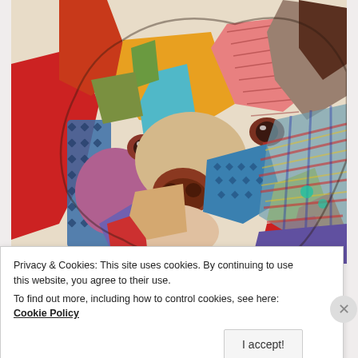[Figure (illustration): Colorful pop-art style painting of a dog (appears to be a Boxer or Labrador) with a close-up portrait view. The dog is rendered in vivid, abstract multicolored patches including red, blue, yellow, orange, green, purple, teal, and patterned areas with a plaid design. The background is a light beige/cream. A small artist signature is visible in the lower left.]
Privacy & Cookies: This site uses cookies. By continuing to use this website, you agree to their use.
To find out more, including how to control cookies, see here: Cookie Policy